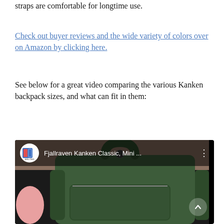straps are comfortable for longtime use.
Check out buyer reviews and the wide variety of colors over on Amazon by clicking here.
See below for a great video comparing the various Kanken backpack sizes, and what can fit in them:
[Figure (screenshot): YouTube video thumbnail showing a Fjallraven Kanken Classic green backpack close-up, with channel icon and title 'Fjallraven Kanken Classic, Mini ...' in the header overlay]